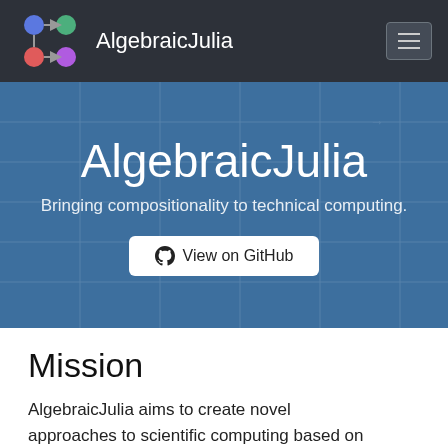AlgebraicJulia
AlgebraicJulia
Bringing compositionality to technical computing.
View on GitHub
Mission
AlgebraicJulia aims to create novel approaches to scientific computing based on